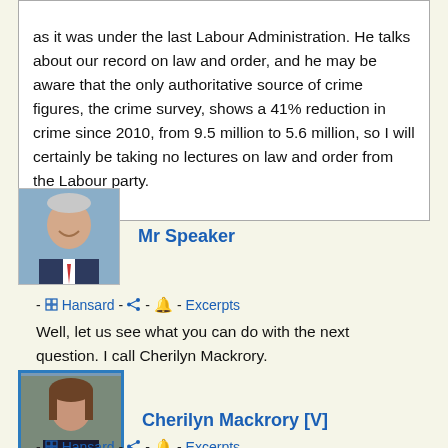as it was under the last Labour Administration. He talks about our record on law and order, and he may be aware that the only authoritative source of crime figures, the crime survey, shows a 41% reduction in crime since 2010, from 9.5 million to 5.6 million, so I will certainly be taking no lectures on law and order from the Labour party.
[Figure (photo): Portrait photo of Mr Speaker, a man in a suit smiling]
Mr Speaker
- Hansard - share - bell - Excerpts
Well, let us see what you can do with the next question. I call Cherilyn Mackrory.
[Figure (photo): Portrait photo of Cherilyn Mackrory, a woman with brown hair]
Cherilyn Mackrory [V]
- Hansard - share - bell - Excerpts